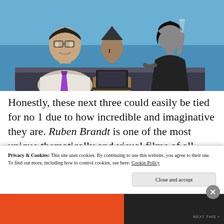[Figure (illustration): Animated illustration showing three stylized characters on a boat against a blue ocean background: a man with glasses and a purple tie on the left, a figure with a laptop in the center, and a tall woman in black holding a glass on the right.]
Honestly, these next three could easily be tied for no 1 due to how incredible and imaginative they are. Ruben Brandt is one of the most unique thematically and visual films of all time. It's mixing of an action heist thriller with
Privacy & Cookies: This site uses cookies. By continuing to use this website, you agree to their use.
To find out more, including how to control cookies, see here: Cookie Policy
Close and accept